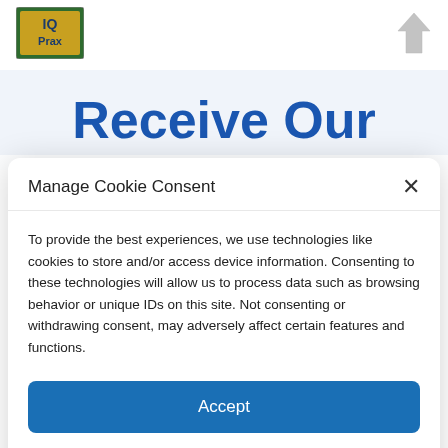[Figure (logo): IQ Prax logo - gold and green square with IQ Prax text]
[Figure (logo): Small right-side logo mark, grey arrow/chevron shape]
Receive Our
Manage Cookie Consent
To provide the best experiences, we use technologies like cookies to store and/or access device information. Consenting to these technologies will allow us to process data such as browsing behavior or unique IDs on this site. Not consenting or withdrawing consent, may adversely affect certain features and functions.
Accept
Privacy Policy  Privacy Policy  Contact